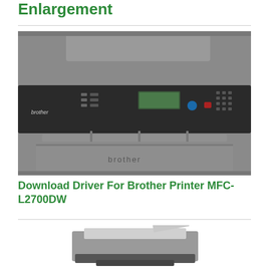Enlargement
[Figure (photo): Front view of a Brother MFC-L2700DW all-in-one laser printer in dark gray, showing control panel with display, buttons, paper tray, and document feeder on top.]
Download Driver For Brother Printer MFC-L2700DW
[Figure (photo): Partial view of another printer device showing paper input/output tray area, partially cropped at bottom of page.]